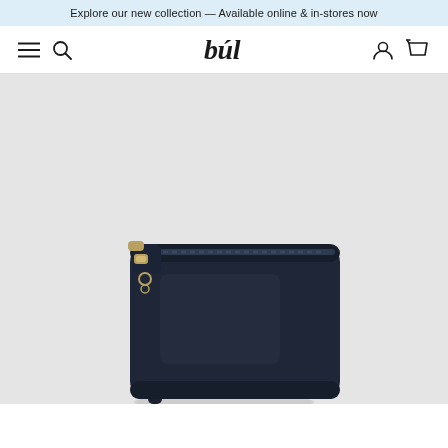Explore our new collection — Available online & in-stores now
[Figure (logo): búl brand logo with hamburger menu, search icon, user icon, and cart icon in navigation bar]
[Figure (photo): Dark navy blue leather crossbody camera bag with gold zipper hardware, shown on light grey background. The bag is rectangular with rounded corners, a top zipper, and a shoulder strap visible at the bottom.]